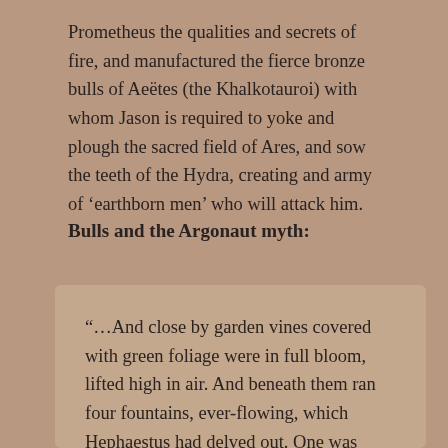Prometheus the qualities and secrets of fire, and manufactured the fierce bronze bulls of Aeëtes (the Khalkotauroi) with whom Jason is required to yoke and plough the sacred field of Ares, and sow the teeth of the Hydra, creating and army of 'earthborn men' who will attack him.
Bulls and the Argonaut myth:
“…And close by garden vines covered with green foliage were in full bloom, lifted high in air. And beneath them ran four fountains, ever-flowing, which Hephaestus had delved out. One was gushing with milk, one with wine, while the third flowed with fragrant oil; and the fourth ran with water, which grew warm at the setting of the Pleiads, and in